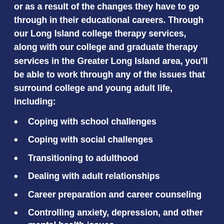or as a result of the changes they have to go through in their educational careers. Through our Long Island college therapy services, along with our college and graduate therapy services in the Greater Long Island area, you'll be able to work through any of the issues that surround college and young adult life, including:
Coping with school challenges
Coping with social challenges
Transitioning to adulthood
Dealing with adult relationships
Career preparation and career counseling
Controlling anxiety, depression, and other mental health issues